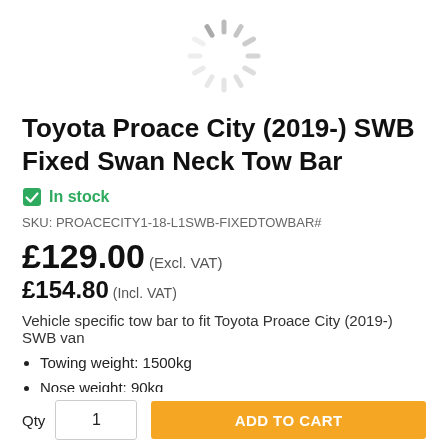[Figure (other): Loading spinner icon (grey radial lines)]
Toyota Proace City (2019-) SWB Fixed Swan Neck Tow Bar
✔ In stock
SKU: PROACECITY1-18-L1SWB-FIXEDTOWBAR#
£129.00 (Excl. VAT)
£154.80 (Incl. VAT)
Vehicle specific tow bar to fit Toyota Proace City (2019-) SWB van
Towing weight: 1500kg
Nose weight: 90kg
D-Value: 8.75
No bumper cut required
Qty  1  ADD TO CART